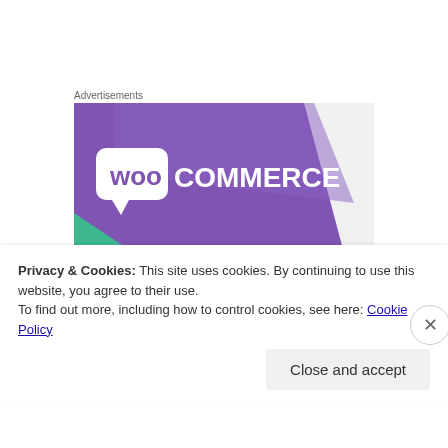Advertisements
[Figure (logo): WooCommerce advertisement banner with purple diagonal background and teal accent, white WooCommerce logo text]
Belinda on January 10, 2013 at 12:22 am
I did not feel this post was judgmental at all! You
Privacy & Cookies: This site uses cookies. By continuing to use this website, you agree to their use.
To find out more, including how to control cookies, see here: Cookie Policy
Close and accept